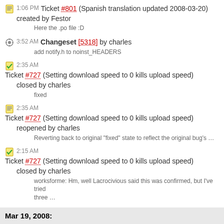1:06 PM Ticket #801 (Spanish translation updated 2008-03-20) created by Festor
Here the .po file :D
3:52 AM Changeset [5318] by charles
add notify.h to noinst_HEADERS
2:35 AM Ticket #727 (Setting download speed to 0 kills upload speed) closed by charles
fixed
2:35 AM Ticket #727 (Setting download speed to 0 kills upload speed) reopened by charles
Reverting back to original "fixed" state to reflect the original bug's ...
2:15 AM Ticket #727 (Setting download speed to 0 kills upload speed) closed by charles
worksforme: Hm, well Lacrocivious said this was confirmed, but I've tried three ...
1:22 AM Changeset [5317] by charles
Somehow the Bulgarian translation was left out of LINGUAS
12:10 AM Changeset [5316] by charles
final (fingers crossed) .po update for the 1.1x string freeze.
Mar 19, 2008: